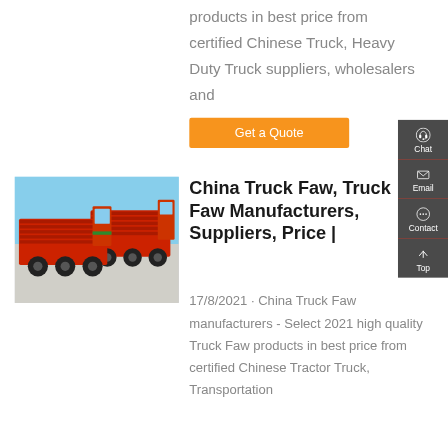products in best price from certified Chinese Truck, Heavy Duty Truck suppliers, wholesalers and
[Figure (other): Orange 'Get a Quote' button]
[Figure (photo): Red FAW dump truck parked outdoors]
China Truck Faw, Truck Faw Manufacturers, Suppliers, Price |
17/8/2021 · China Truck Faw manufacturers - Select 2021 high quality Truck Faw products in best price from certified Chinese Tractor Truck, Transportation